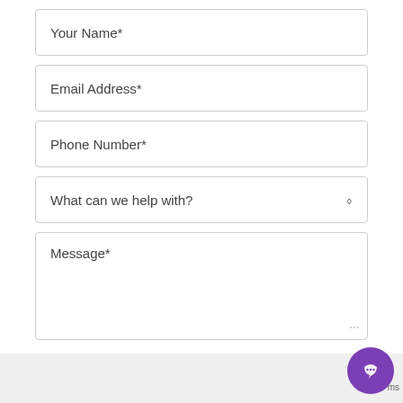Your Name*
Email Address*
Phone Number*
What can we help with?
Message*
Send Message